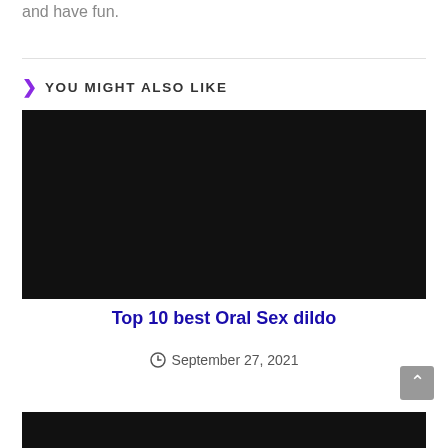and have fun.
YOU MIGHT ALSO LIKE
[Figure (photo): Black rectangular image placeholder for article thumbnail]
Top 10 best Oral Sex dildo
September 27, 2021
[Figure (photo): Black rectangular image placeholder at bottom of page]